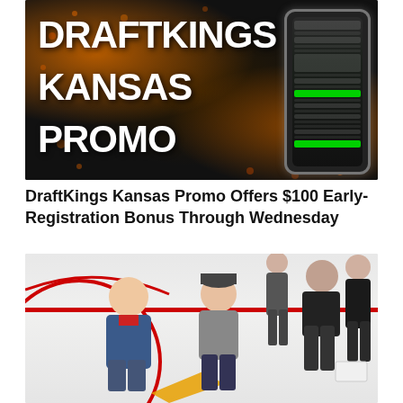[Figure (photo): DraftKings Kansas Promo advertisement banner with large white bold text reading DRAFTKINGS KANSAS PROMO on a dark background with orange splatter effects, and a smartphone mockup showing the DraftKings app interface on the right side.]
DraftKings Kansas Promo Offers $100 Early-Registration Bonus Through Wednesday
[Figure (photo): Photo of people working on an ice rink surface, appearing to paint or apply markings. Two men in the foreground are crouching down on the ice near red and orange markings. Other workers are visible in the background.]